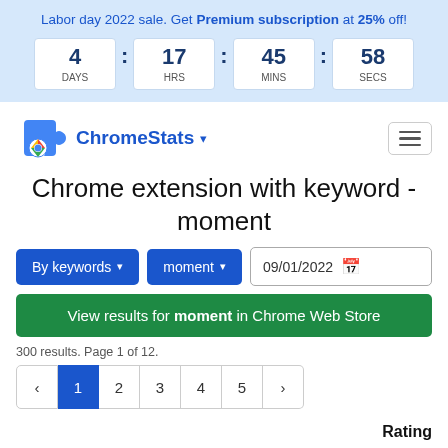Labor day 2022 sale. Get Premium subscription at 25% off!
4 DAYS : 17 HRS : 45 MINS : 58 SECS
[Figure (logo): ChromeStats logo with puzzle piece and Chrome icon]
Chrome extension with keyword - moment
By keywords ▾   moment ▾   09/01/2022
View results for moment in Chrome Web Store
300 results. Page 1 of 12.
‹ 1 2 3 4 5 ›
Rating